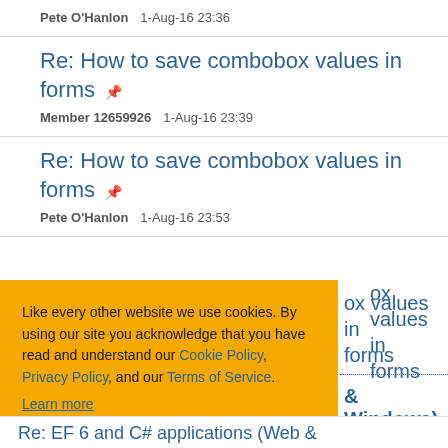Pete O'Hanlon   1-Aug-16 23:36
Re: How to save combobox values in forms
Member 12659926   1-Aug-16 23:39
Re: How to save combobox values in forms
Pete O'Hanlon   1-Aug-16 23:53
Re: How to save combobox values in forms
Like every other website we use cookies. By using our site you acknowledge that you have read and understand our Cookie Policy, Privacy Policy, and our Terms of Service. Learn more
Ask me later   Decline   Allow cookies
& Windows)
Re: EF 6 and C# applications (Web &